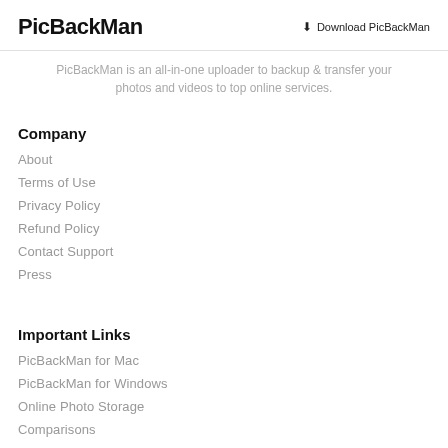PicBackMan | Download PicBackMan
PicBackMan is an all-in-one uploader to backup & transfer your photos and videos to top online services.
Company
About
Terms of Use
Privacy Policy
Refund Policy
Contact Support
Press
Important Links
PicBackMan for Mac
PicBackMan for Windows
Online Photo Storage
Comparisons